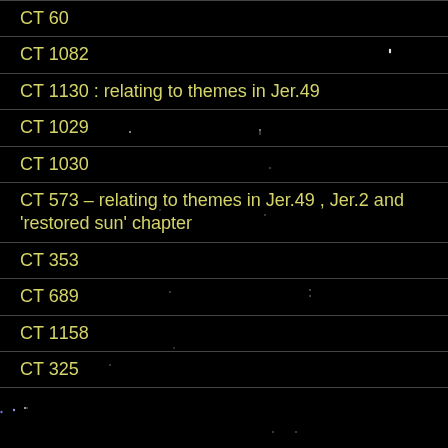CT 60
CT 1082
CT 1130 : relating to themes in Jer.49
CT 1029
CT 1030
CT 573 – relating to themes in Jer.49 , Jer.2 and 'restored sun' chapter
CT 353
CT 689
CT 1158
CT 325